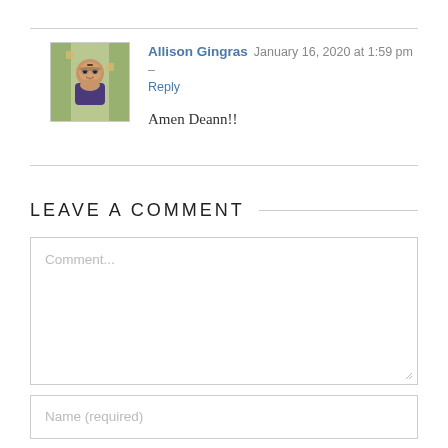Allison Gingras  January 16, 2020 at 1:59 pm –
Reply

Amen Deann!!
LEAVE A COMMENT
Comment...
Name (required)